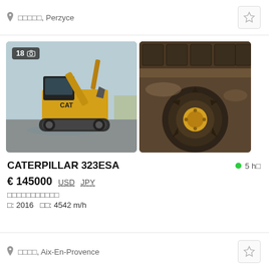□□□□□, Perzyce
[Figure (photo): Yellow Caterpillar 323ESA tracked excavator, side view in outdoor yard, with badge showing 18 photos]
[Figure (photo): Close-up of muddy excavator track undercarriage/sprocket wheel with soil]
CATERPILLAR 323ESA
5 h□
€ 145000  USD  JPY
□□□□□□□□□□□
□: 2016   □□: 4542 m/h
□□□□, Aix-En-Provence